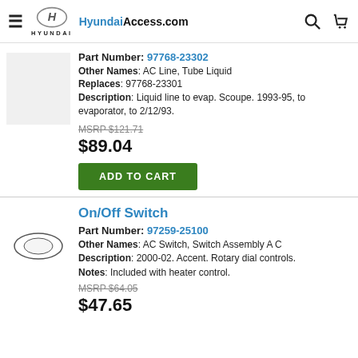HyundaiAccess.com
Part Number: 97768-23302
Other Names: AC Line, Tube Liquid
Replaces: 97768-23301
Description: Liquid line to evap. Scoupe. 1993-95, to evaporator, to 2/12/93.
MSRP $121.71
$89.04
ADD TO CART
On/Off Switch
Part Number: 97259-25100
Other Names: AC Switch, Switch Assembly A C
Description: 2000-02. Accent. Rotary dial controls.
Notes: Included with heater control.
MSRP $64.05
$47.65